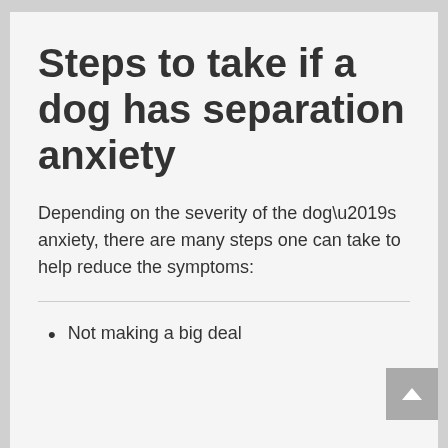Steps to take if a dog has separation anxiety
Depending on the severity of the dog’s anxiety, there are many steps one can take to help reduce the symptoms:
Not making a big deal